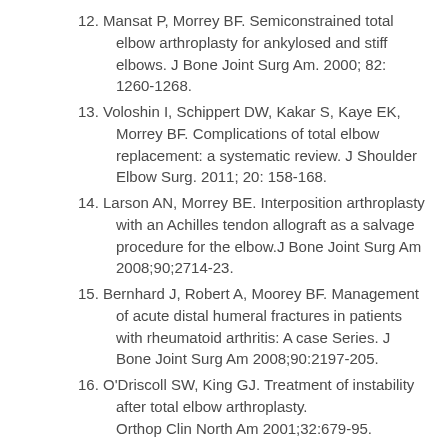12. Mansat P, Morrey BF. Semiconstrained total elbow arthroplasty for ankylosed and stiff elbows. J Bone Joint Surg Am. 2000; 82: 1260-1268.
13. Voloshin I, Schippert DW, Kakar S, Kaye EK, Morrey BF. Complications of total elbow replacement: a systematic review. J Shoulder Elbow Surg. 2011; 20: 158-168.
14. Larson AN, Morrey BE. Interposition arthroplasty with an Achilles tendon allograft as a salvage procedure for the elbow.J Bone Joint Surg Am 2008;90;2714-23.
15. Bernhard J, Robert A, Moorey BF. Management of acute distal humeral fractures in patients with rheumatoid arthritis: A case Series. J Bone Joint Surg Am 2008;90:2197-205.
16. O'Driscoll SW, King GJ. Treatment of instability after total elbow arthroplasty. Orthop Clin North Am 2001;32:679-95.
17. Kraay MJ, Figgie MP, Inglis AE, Wolfe SW, Ranawat CS. Primarysemi constrained total elbow arthroplasty: Survival analysis of 113 consecutive